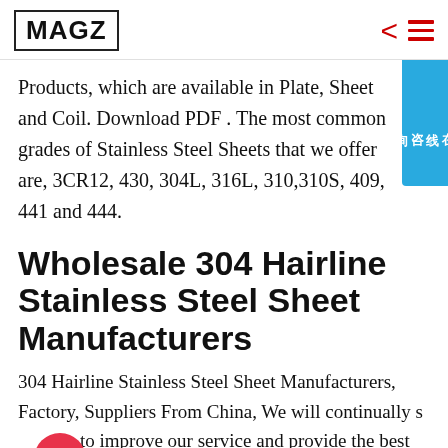MAGZ
Products, which are available in Plate, Sheet and Coil. Download PDF . The most common grades of Stainless Steel Sheets that we offer are, 3CR12, 430, 304L, 316L, 310,310S, 409, 441 and 444.
Wholesale 304 Hairline Stainless Steel Sheet Manufacturers
304 Hairline Stainless Steel Sheet Manufacturers, Factory, Suppliers From China, We will continually strive to improve our service and provide the best quality products with competitive prices. Any